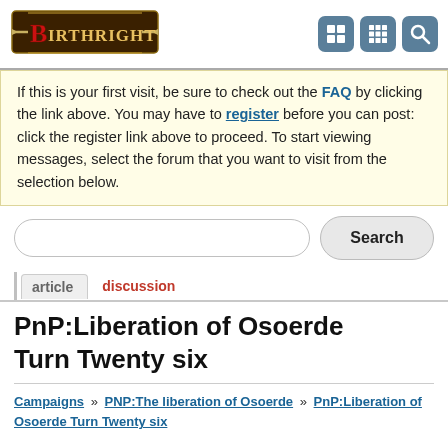Birthright (logo) — navigation icons
If this is your first visit, be sure to check out the FAQ by clicking the link above. You may have to register before you can post: click the register link above to proceed. To start viewing messages, select the forum that you want to visit from the selection below.
Search
article   discussion
PnP:Liberation of Osoerde Turn Twenty six
Campaigns » PNP:The liberation of Osoerde » PnP:Liberation of Osoerde Turn Twenty six